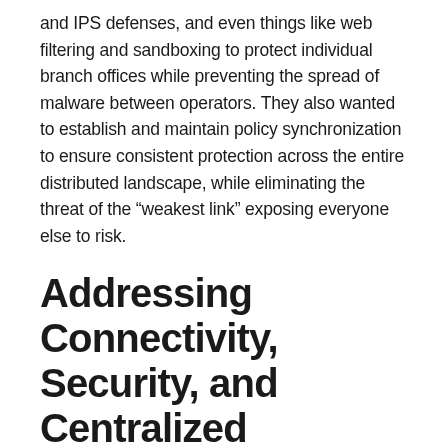and IPS defenses, and even things like web filtering and sandboxing to protect individual branch offices while preventing the spread of malware between operators. They also wanted to establish and maintain policy synchronization to ensure consistent protection across the entire distributed landscape, while eliminating the threat of the “weakest link” exposing everyone else to risk.
Addressing Connectivity, Security, and Centralized Management with a Single Solution
By carefully selecting a solution from amongst four different SD-WAN candidates, they were able to deploy a solution designed to address their entire